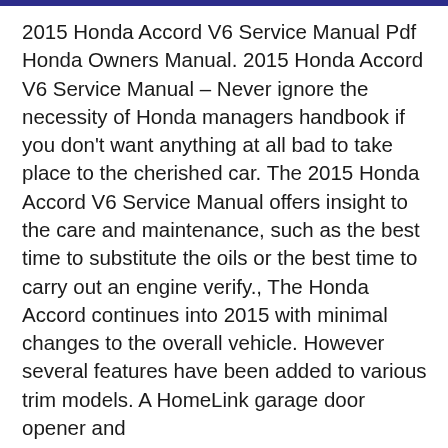2015 Honda Accord V6 Service Manual Pdf Honda Owners Manual. 2015 Honda Accord V6 Service Manual – Never ignore the necessity of Honda managers handbook if you don't want anything at all bad to take place to the cherished car. The 2015 Honda Accord V6 Service Manual offers insight to the care and maintenance, such as the best time to substitute the oils or the best time to carry out an engine verify., The Honda Accord continues into 2015 with minimal changes to the overall vehicle. However several features have been added to various trim models. A HomeLink garage door opener and